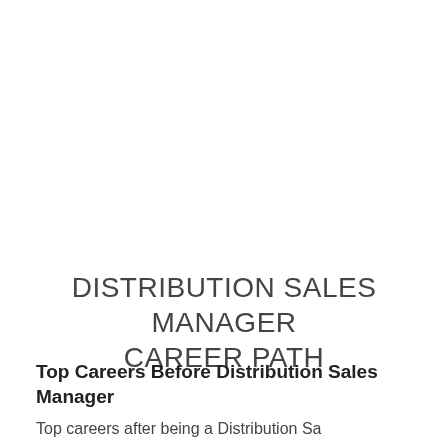DISTRIBUTION SALES MANAGER CAREER PATH
Top Careers Before Distribution Sales Manager
Top careers after being a Distribution Sa...